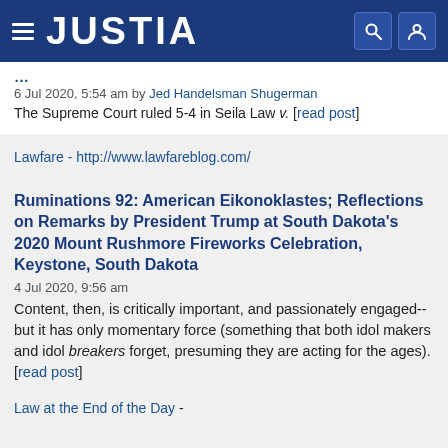JUSTIA
6 Jul 2020, 5:54 am by Jed Handelsman Shugerman
The Supreme Court ruled 5-4 in Seila Law v. [read post]
Lawfare - http://www.lawfareblog.com/
Ruminations 92: American Eikonoklastes; Reflections on Remarks by President Trump at South Dakota's 2020 Mount Rushmore Fireworks Celebration, Keystone, South Dakota
4 Jul 2020, 9:56 am
Content, then, is critically important, and passionately engaged--but it has only momentary force (something that both idol makers and idol breakers forget, presuming they are acting for the ages). [read post]
Law at the End of the Day -